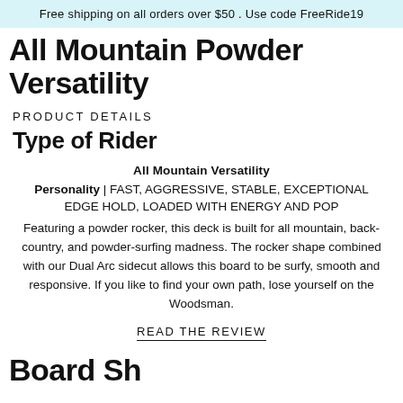Free shipping on all orders over $50 . Use code FreeRide19
All Mountain Powder Versatility
PRODUCT DETAILS
Type of Rider
All Mountain Versatility
Personality | FAST, AGGRESSIVE, STABLE, EXCEPTIONAL EDGE HOLD, LOADED WITH ENERGY AND POP
Featuring a powder rocker, this deck is built for all mountain, back-country, and powder-surfing madness. The rocker shape combined with our Dual Arc sidecut allows this board to be surfy, smooth and responsive. If you like to find your own path, lose yourself on the Woodsman.
READ THE REVIEW
Board Sh...